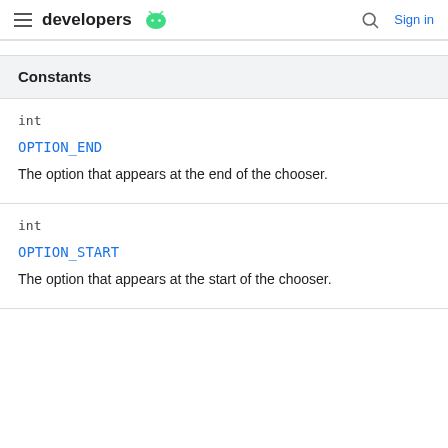developers Sign in
Constants
int
OPTION_END
The option that appears at the end of the chooser.
int
OPTION_START
The option that appears at the start of the chooser.